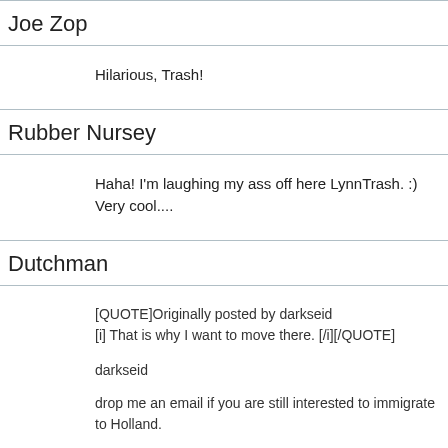Joe Zop
Hilarious, Trash!
Rubber Nursey
Haha! I'm laughing my ass off here LynnTrash. :) Very cool....
Dutchman
[QUOTE]Originally posted by darkseid
[i] That is why I want to move there. [/i][/QUOTE]

darkseid

drop me an email if you are still interested to immigrate to Holland.

dutchman5999@hotmail.com